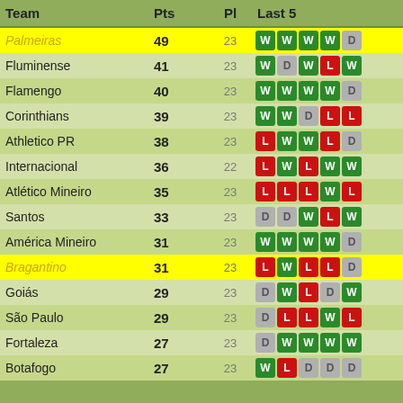| Team | Pts | Pl | Last 5 |
| --- | --- | --- | --- |
| Palmeiras | 49 | 23 | W W W W D |
| Fluminense | 41 | 23 | W D W L W |
| Flamengo | 40 | 23 | W W W W D |
| Corinthians | 39 | 23 | W W D L L |
| Athletico PR | 38 | 23 | L W W L D |
| Internacional | 36 | 22 | L W L W W |
| Atlético Mineiro | 35 | 23 | L L L W L |
| Santos | 33 | 23 | D D W L W |
| América Mineiro | 31 | 23 | W W W W D |
| Bragantino | 31 | 23 | L W L L D |
| Goiás | 29 | 23 | D W L D W |
| São Paulo | 29 | 23 | D L L W L |
| Fortaleza | 27 | 23 | D W W W W |
| Botafogo | 27 | 23 | W L D D D |